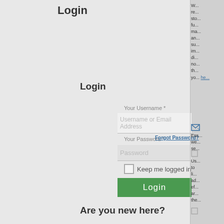Login
Login
Your Username *
Username or Email Address
Your Password *
Forgot Password?
Password
Keep me logged in
Login
Are you new here?
W... re... sto... fu... ma... an... su... im... di... no... th... yo... he...
Ess... we... se...
Us... to li... ad... ef... ar... the...